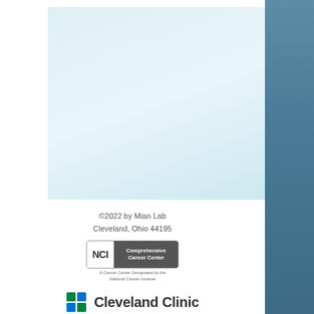[Figure (illustration): Large light blue rectangle on white background, representing a cover page graphic area]
©2022 by Mian Lab
Cleveland, Ohio 44195
[Figure (logo): NCI Comprehensive Cancer Center badge - A Cancer Center Designated by the National Cancer Institute]
[Figure (logo): Cleveland Clinic logo with cross icon and wordmark]